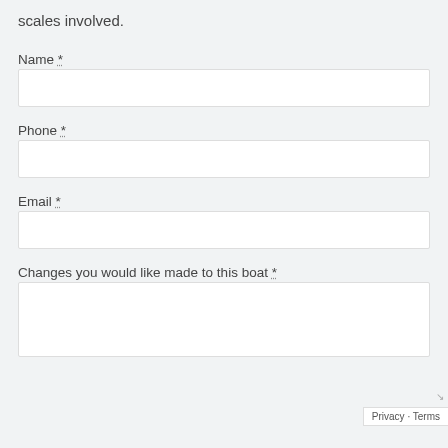scales involved.
Name *
Phone *
Email *
Changes you would like made to this boat *
Privacy · Terms